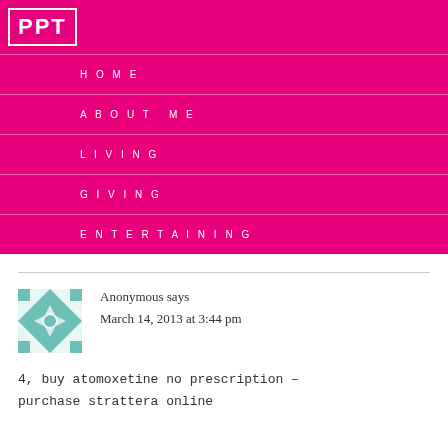[Figure (logo): PPT logo in white text on magenta background with white border box]
HOME
ABOUT ME
LIVING
GIVING
ENTERTAINING
Anonymous says
March 14, 2013 at 3:44 pm
4, buy atomoxetine no prescription – purchase strattera online